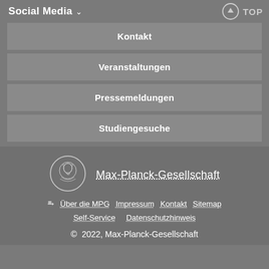Social Media
Kontakt
Veranstaltungen
Pressemeldungen
Studiengesuche
[Figure (logo): Max-Planck-Gesellschaft circular coin logo in white outline on grey background]
Max-Planck-Gesellschaft
⊘ Über die MPG   Impressum   Kontakt   Sitemap
Self-Service   Datenschutzhinweis
© 2022, Max-Planck-Gesellschaft